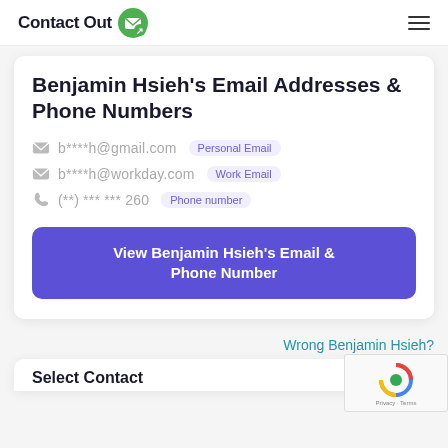ContactOut
Benjamin Hsieh's Email Addresses & Phone Numbers
b****h@gmail.com  Personal Email
b****h@workday.com  Work Email
(**) *** *** 260  Phone number
View Benjamin Hsieh's Email & Phone Number
Wrong Benjamin Hsieh?